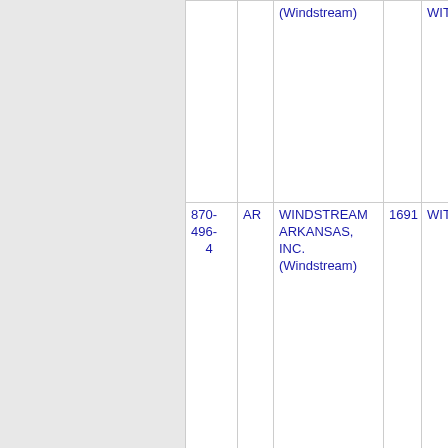| Phone | State | Company | Num | City |
| --- | --- | --- | --- | --- |
|  |  | (Windstream) |  | WITTS |
| 870-496-4 | AR | WINDSTREAM ARKANSAS, INC. (Windstream) | 1691 | WITTS |
| 870-496-6 | AR | WINDSTREAM ARKANSAS, INC. (Windstream) | 1691 | WITTS |